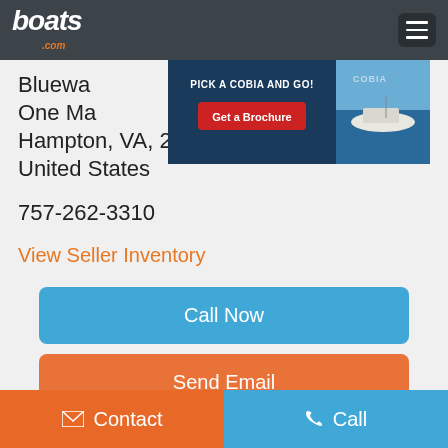boats.com
[Figure (screenshot): Advertisement banner: PICK A COBIA AND GO! with Get a Brochure button and Cobia boat image]
Bluewa[ter] (partially obscured)
One Ma[rine] (partially obscured)
Hampton, VA, 23669
United States
757-262-3310
View Seller Inventory
Call Now
Send Email
Contact | Call